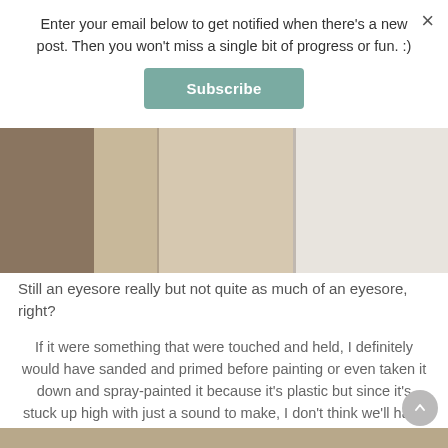Enter your email below to get notified when there's a new post. Then you won't miss a single bit of progress or fun. :)
Subscribe
×
[Figure (photo): Interior room photograph showing a light-colored room with walls and what appears to be a mounted speaker or device on the wall]
Still an eyesore really but not quite as much of an eyesore, right?
If it were something that were touched and held, I definitely would have sanded and primed before painting or even taken it down and spray-painted it because it's plastic but since it's stuck up high with just a sound to make, I don't think we'll have any problems with that paint coming off or scratching or any of that. So, it's a free update for the win!